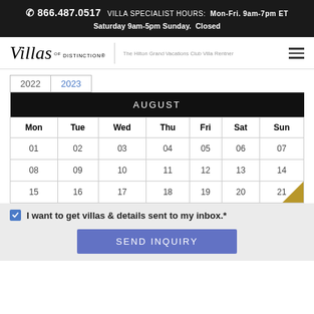866.487.0517  VILLA SPECIALIST HOURS:  Mon-Fri. 9am-7pm ET  Saturday 9am-5pm Sunday. Closed
[Figure (logo): Villas of Distinction logo with tagline 'The Hilton Grand Vacations Club Villa Rentner' and hamburger menu icon]
| Mon | Tue | Wed | Thu | Fri | Sat | Sun |
| --- | --- | --- | --- | --- | --- | --- |
| 01 | 02 | 03 | 04 | 05 | 06 | 07 |
| 08 | 09 | 10 | 11 | 12 | 13 | 14 |
| 15 | 16 | 17 | 18 | 19 | 20 | 21 |
I want to get villas & details sent to my inbox.*
SEND INQUIRY